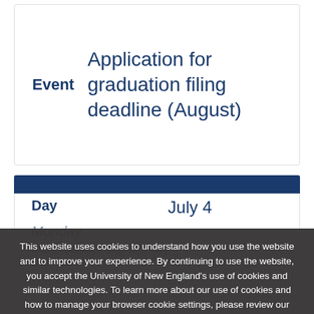| Event | Description |
| --- | --- |
| Event | Application for graduation filing deadline (August) |
| Day | Date |
| --- | --- |
| Day | July 4 |
This website uses cookies to understand how you use the website and to improve your experience. By continuing to use the website, you accept the University of New England's use of cookies and similar technologies. To learn more about our use of cookies and how to manage your browser cookie settings, please review our Privacy Notice.
ACCEPT →